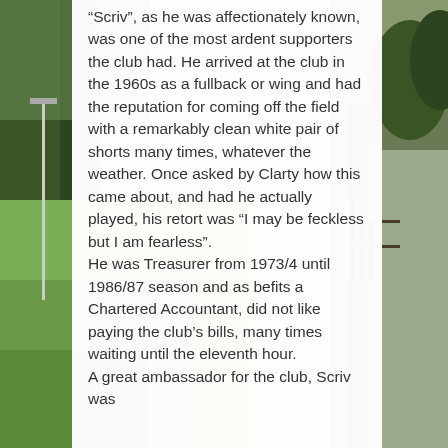[Figure (photo): Background photo of a green sports field/park with trees on the left side and a road/path on the right side with a fence. A floodlight pole is visible on the left.]
“Scriv”, as he was affectionately known, was one of the most ardent supporters the club had. He arrived at the club in the 1960s as a fullback or wing and had the reputation for coming off the field with a remarkably clean white pair of shorts many times, whatever the weather. Once asked by Clarty how this came about, and had he actually played, his retort was “I may be feckless but I am fearless”.
He was Treasurer from 1973/4 until 1986/87 season and as befits a Chartered Accountant, did not like paying the club’s bills, many times waiting until the eleventh hour.
A great ambassador for the club, Scriv was...